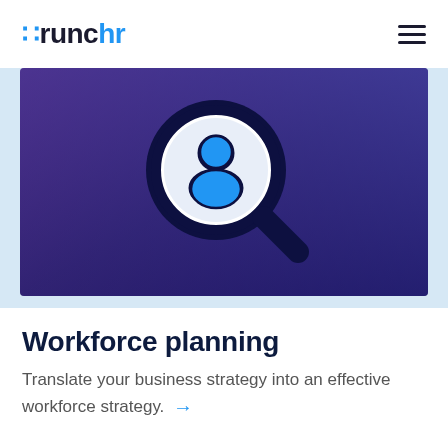crunchr
[Figure (illustration): A magnifying glass icon with a person/user silhouette inside the lens, set against a purple-to-dark-blue gradient background.]
Workforce planning
Translate your business strategy into an effective workforce strategy. →